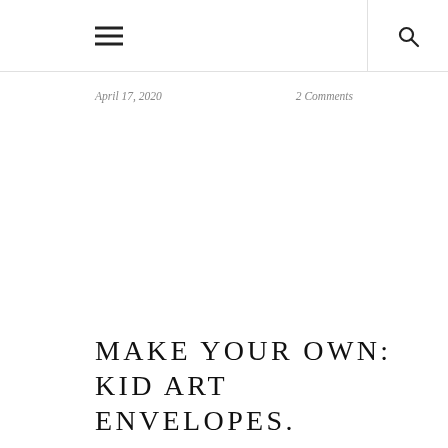☰ 🔍
April 17, 2020
2 Comments
MAKE YOUR OWN: KID ART ENVELOPES.